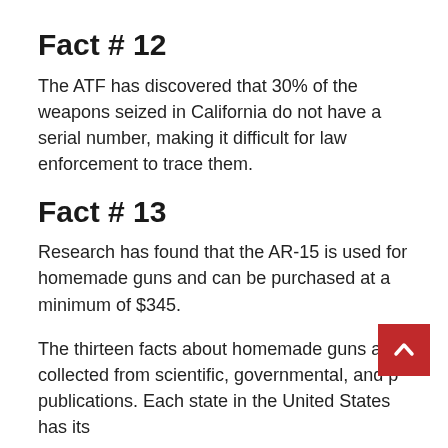Fact # 12
The ATF has discovered that 30% of the weapons seized in California do not have a serial number, making it difficult for law enforcement to trace them.
Fact # 13
Research has found that the AR-15 is used for homemade guns and can be purchased at a minimum of $345.
The thirteen facts about homemade guns are collected from scientific, governmental, and pr publications. Each state in the United States has its